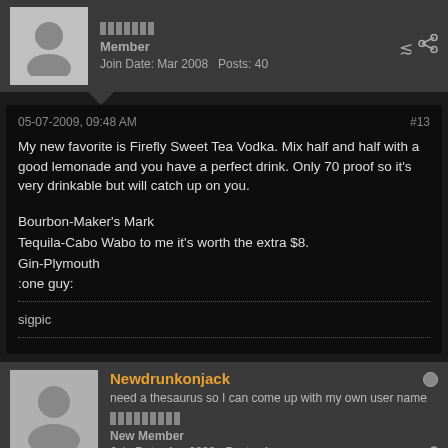Member
Join Date: Mar 2008  Posts: 40
05-07-2009, 09:48 AM
#13
My new favorite is Firefly Sweet Tea Vodka. Mix half and half with a good lemonade and you have a perfect drink. Only 70 proof so it's very drinkable but will catch up on you.
Bourbon-Maker's Mark
Tequila-Cabo Wabo to me it's worth the extra $8.
Gin-Plymouth
:one guy:
sigpic
Newdrunkonjack
need a thesaurus so I can come up with my own user name
New Member
Join Date: Apr 2009  Posts: 4